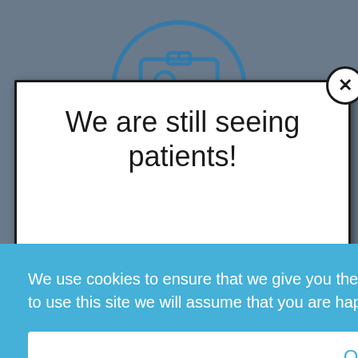[Figure (screenshot): Screenshot of a medical website showing a modal dialog with the text 'We are still seeing patients!' overlaid on a background with an ID badge icon. A cookie consent banner overlays the bottom portion reading 'We use cookies to ensure that we give you the best experience on our website. If you continue to use this site we will assume that you are happy with it.' with an Ok button.]
We are still seeing patients!
We use cookies to ensure that we give you the best experience on our website. If you continue to use this site we will assume that you are happy with it.